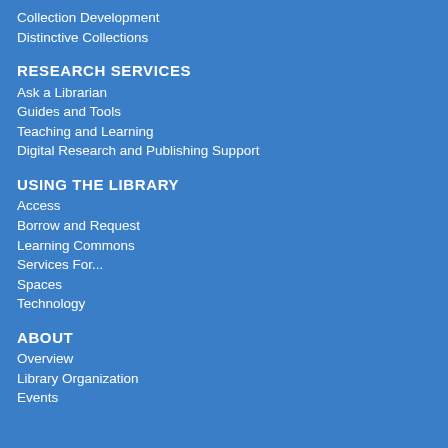Collection Development
Distinctive Collections
RESEARCH SERVICES
Ask a Librarian
Guides and Tools
Teaching and Learning
Digital Research and Publishing Support
USING THE LIBRARY
Access
Borrow and Request
Learning Commons
Services For...
Spaces
Technology
ABOUT
Overview
Library Organization
Events